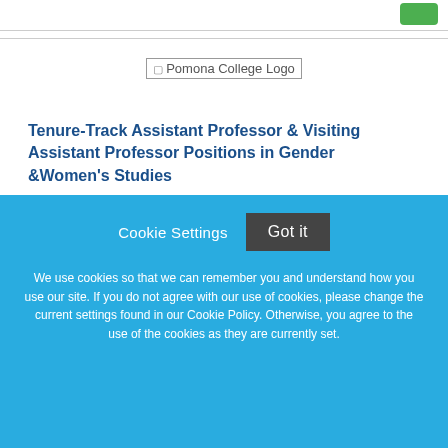[Figure (logo): Pomona College Logo placeholder image]
Tenure-Track Assistant Professor & Visiting Assistant Professor Positions in Gender &Women's Studies
Pomona College
Claremont, California
Cookie Settings   Got it

We use cookies so that we can remember you and understand how you use our site. If you do not agree with our use of cookies, please change the current settings found in our Cookie Policy. Otherwise, you agree to the use of the cookies as they are currently set.